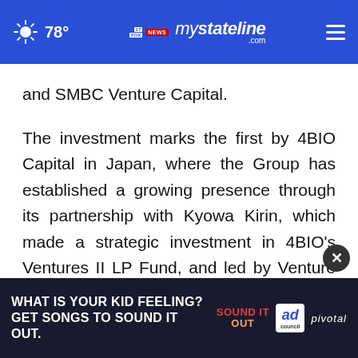78° mystateline.com NEWS
and SMBC Venture Capital.
The investment marks the first by 4BIO Capital in Japan, where the Group has established a growing presence through its partnership with Kyowa Kirin, which made a strategic investment in 4BIO's Ventures II LP Fund, and led by Venture Partner Philippe Fauchet, OBE. 4BIO continues to evaluate the extensive investment opportunities in this innovation-rich market.
LUCA Science is pioneering a new class of